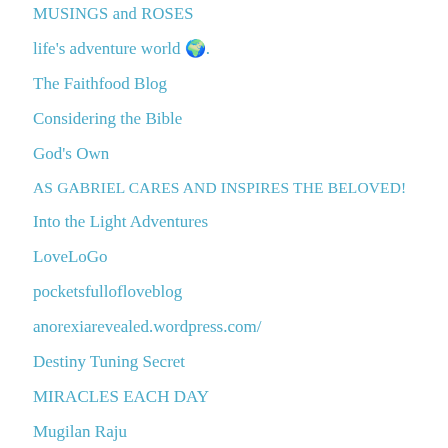MUSINGS and ROSES
life's adventure world 🌍.
The Faithfood Blog
Considering the Bible
God's Own
AS GABRIEL CARES AND INSPIRES THE BELOVED!
Into the Light Adventures
LoveLoGo
pocketsfullofloveblog
anorexiarevealed.wordpress.com/
Destiny Tuning Secret
MIRACLES EACH DAY
Mugilan Raju
Share Life Ministries